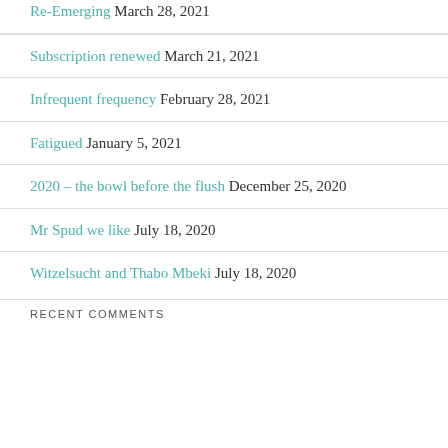Re-Emerging March 28, 2021
Subscription renewed March 21, 2021
Infrequent frequency February 28, 2021
Fatigued January 5, 2021
2020 – the bowl before the flush December 25, 2020
Mr Spud we like July 18, 2020
Witzelsucht and Thabo Mbeki July 18, 2020
RECENT COMMENTS